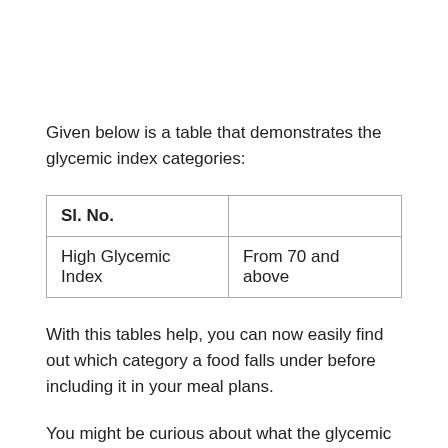Given below is a table that demonstrates the glycemic index categories:
| Sl. No. |  |
| --- | --- |
| High Glycemic Index | From 70 and above |
With this tables help, you can now easily find out which category a food falls under before including it in your meal plans.
You might be curious about what the glycemic index of lemon is. Well, the glycemic index of lemon falls under the